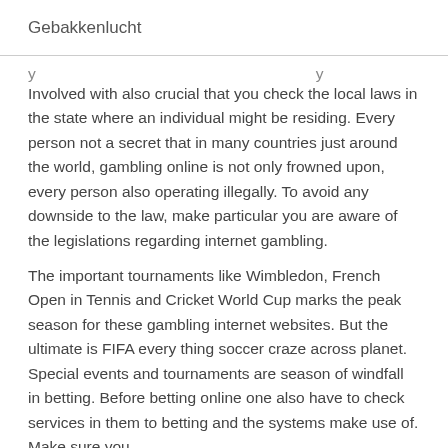Gebakkenlucht
y … … … … … … … … y
Involved with also crucial that you check the local laws in the state where an individual might be residing. Every person not a secret that in many countries just around the world, gambling online is not only frowned upon, every person also operating illegally. To avoid any downside to the law, make particular you are aware of the legislations regarding internet gambling.
The important tournaments like Wimbledon, French Open in Tennis and Cricket World Cup marks the peak season for these gambling internet websites. But the ultimate is FIFA every thing soccer craze across planet. Special events and tournaments are season of windfall in betting. Before betting online one also have to check services in them to betting and the systems make use of. Make sure you